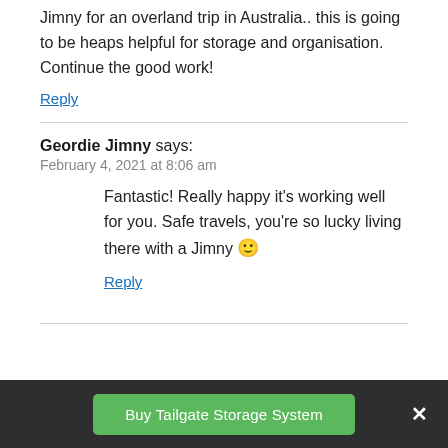Jimny for an overland trip in Australia.. this is going to be heaps helpful for storage and organisation. Continue the good work!
Reply
Geordie Jimny says:
February 4, 2021 at 8:06 am
Fantastic! Really happy it's working well for you. Safe travels, you're so lucky living there with a Jimny 🙂
Reply
Buy Tailgate Storage System